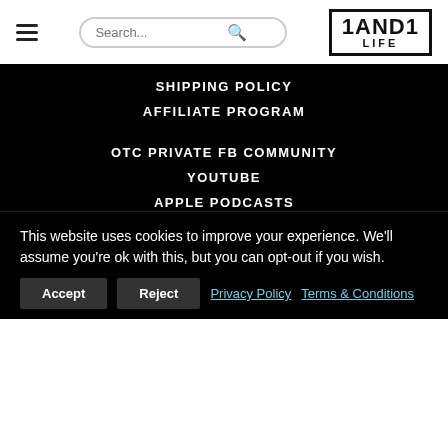1ANDI LIFE — navigation header with search bar and logo
SHIPPING POLICY
AFFILIATE PROGRAM
OTC PRIVATE FB COMMUNITY
YOUTUBE
APPLE PODCASTS
SPOTIFY PODCASTS
SOUNDCLOUD
1AND1YOU
MORE LIFE
This website uses cookies to improve your experience. We'll assume you're ok with this, but you can opt-out if you wish.
Accept | Reject | Privacy Policy | Terms & Conditions